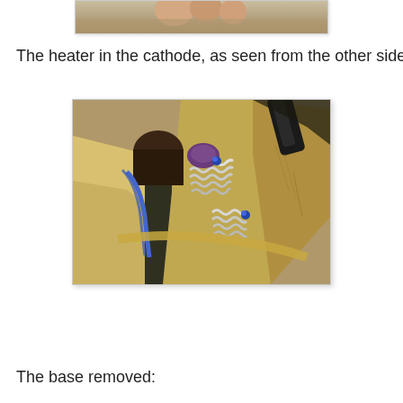[Figure (photo): Top portion of a photo showing cathode/heater assembly with metallic golden components, partially visible at top of page.]
The heater in the cathode, as seen from the other side:
[Figure (photo): Close-up photo of the heater in the cathode as seen from the other side. Shows golden/brass metallic plates, a dark burned cylindrical element, coiled white spring-like wire heater elements, a blue-tipped wire, and purple/dark components visible between the metal plates.]
The base removed: